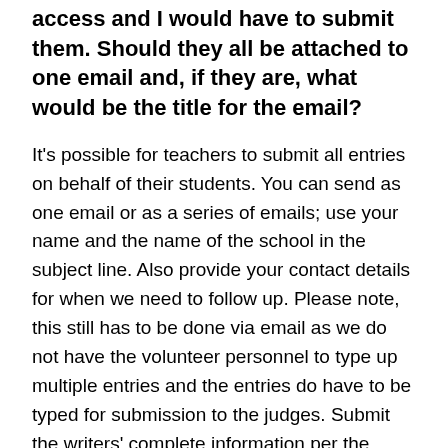access and I would have to submit them. Should they all be attached to one email and, if they are, what would be the title for the email?
It's possible for teachers to submit all entries on behalf of their students. You can send as one email or as a series of emails; use your name and the name of the school in the subject line. Also provide your contact details for when we need to follow up. Please note, this still has to be done via email as we do not have the volunteer personnel to type up multiple entries and the entries do have to be typed for submission to the judges. Submit the writers' complete information per the guidelines but, as much as possible, make sure their names don't appear on the actual entry as the judges need to read the entries blind. If, under the circumstances, you need more time, please let us know